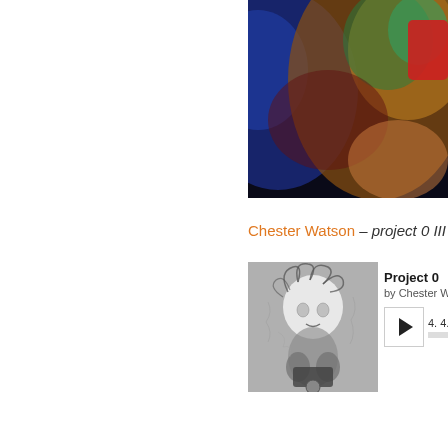[Figure (photo): Blurry colorful bokeh photo with blue, orange, green and red colors, partially cropped at top-right of page]
Chester Watson – project 0 III
[Figure (photo): Black and white abstract sketch/photo album art for Project 0 by Chester Watson, showing a distorted face figure]
Project 0
by Chester W
4. 4.